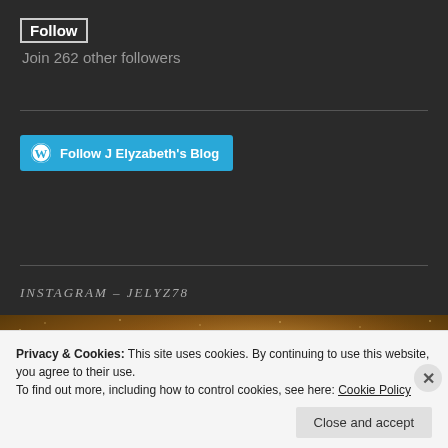Follow
Join 262 other followers
[Figure (screenshot): WordPress 'Follow J Elyzabeth's Blog' button in teal/blue color with WordPress logo icon]
INSTAGRAM – JELYZ78
[Figure (photo): Instagram photo showing glittery gold/brown surface, partially visible]
Privacy & Cookies: This site uses cookies. By continuing to use this website, you agree to their use.
To find out more, including how to control cookies, see here: Cookie Policy
Close and accept